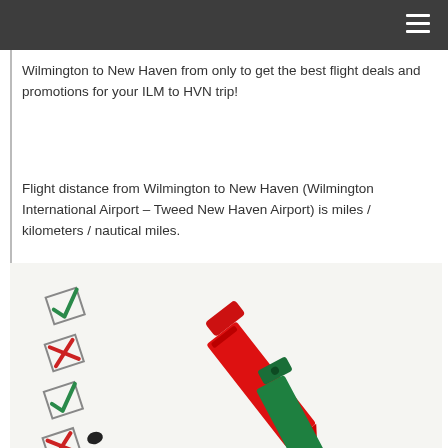Wilmington to New Haven from only to get the best flight deals and promotions for your ILM to HVN trip!
Flight distance from Wilmington to New Haven (Wilmington International Airport – Tweed New Haven Airport) is miles / kilometers / nautical miles.
[Figure (photo): Checklist with checkboxes marked with green checkmarks and red X marks, alongside a red marker pen and a green marker pen.]